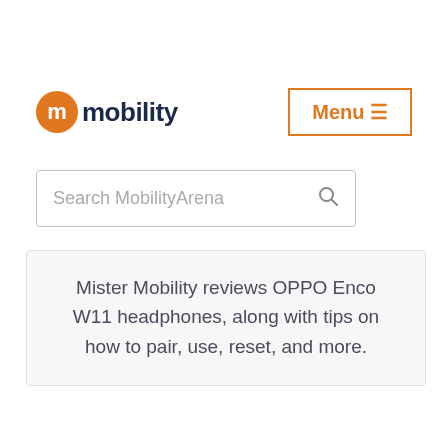[Figure (logo): Mobility Arena logo with orange circular 'm' icon and dark blue 'mobility' text]
Menu ≡
Search MobilityArena
Mister Mobility reviews OPPO Enco W11 headphones, along with tips on how to pair, use, reset, and more.